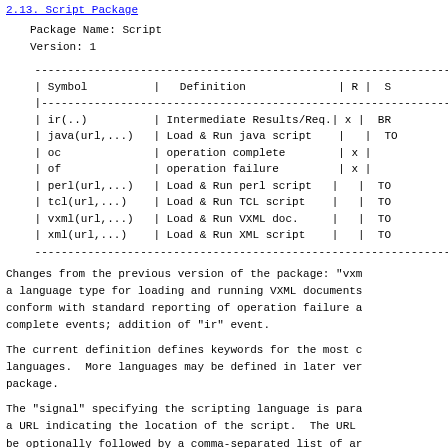2.13. Script Package
Package Name: Script
Version: 1
| Symbol | Definition | R | S |
| --- | --- | --- | --- |
| ir(..) | Intermediate Results/Req. | x | BR |
| java(url,...) | Load & Run java script |  | TO |
| oc | operation complete | x |  |
| of | operation failure | x |  |
| perl(url,...) | Load & Run perl script |  | TO |
| tcl(url,...) | Load & Run TCL script |  | TO |
| vxml(url,...) | Load & Run VXML doc. |  | TO |
| xml(url,...) | Load & Run XML script |  | TO |
Changes from the previous version of the package: "vxml" a language type for loading and running VXML documents; conform with standard reporting of operation failure and complete events; addition of "ir" event.
The current definition defines keywords for the most common languages. More languages may be defined in later versions of the package.
The "signal" specifying the scripting language is parameterized with a URL indicating the location of the script. The URL may be optionally followed by a comma-separated list of arguments as initial parameters to use in running the script. URL